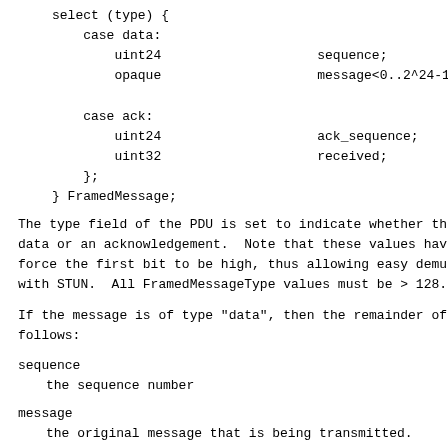select (type) {
    case data:
        uint24                    sequence;
        opaque                    message<0..2^24-1>;

    case ack:
        uint24                    ack_sequence;
        uint32                    received;
    };
} FramedMessage;
The type field of the PDU is set to indicate whether the data or an acknowledgement.  Note that these values have force the first bit to be high, thus allowing easy demu with STUN.  All FramedMessageType values must be > 128.
If the message is of type "data", then the remainder of follows:
sequence
    the sequence number
message
    the original message that is being transmitted.
Each connection has it own sequence number.  Initially zero and it increments by exactly one for each message